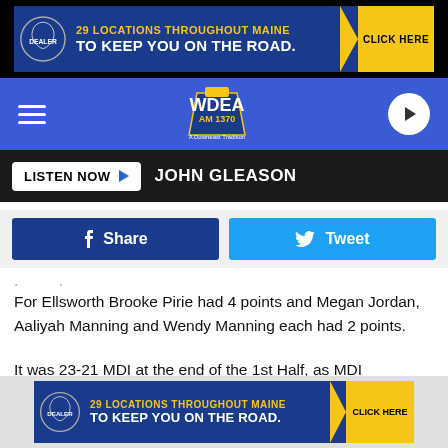[Figure (screenshot): Advertisement banner: 29 LOCATIONS THROUGHOUT MAINE TO KEEP YOU ON THE ROAD. CLICK HERE]
[Figure (logo): WDEA AM 1370 A Downeast Tradition radio station logo with navigation bar]
LISTEN NOW  JOHN GLEASON
[Figure (infographic): Social share buttons: Facebook Share and Twitter Tweet]
For Ellsworth Brooke Pirie had 4 points and Megan Jordan, Aaliyah Manning and Wendy Manning each had 2 points.
It was 23-21 MDI at the end of the 1st Half, as MDI outscored Ellsworth 12-11 in the 2nd Quarter. Emma Simard had 6 points for MDI while Hanley added 4 more points and Hopkins-Goff 2 points. For the Eagles Alex Bivins had 7
[Figure (screenshot): Bottom advertisement banner: 29 LOCATIONS THROUGHOUT MAINE TO KEEP YOU ON THE ROAD. CLICK HERE]